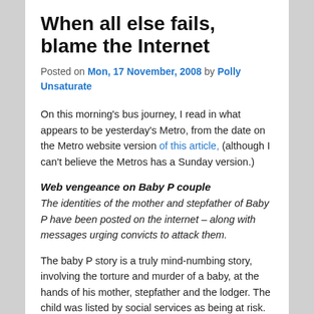When all else fails, blame the Internet
Posted on Mon, 17 November, 2008 by Polly Unsaturate
On this morning's bus journey, I read in what appears to be yesterday's Metro, from the date on the Metro website version of this article, (although I can't believe the Metros has a Sunday version.)
Web vengeance on Baby P couple
The identities of the mother and stepfather of Baby P have been posted on the internet – along with messages urging convicts to attack them.
The baby P story is a truly mind-numbing story, involving the torture and murder of a baby, at the hands of his mother, stepfather and the lodger. The child was listed by social services as being at risk. The police had already been involved and had sought a prosecution. No one managed to save the child's life. None of the protecting